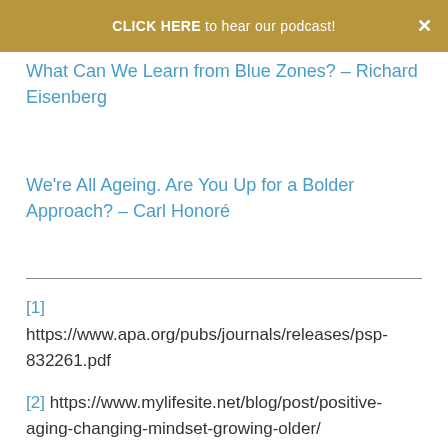CLICK HERE to hear our podcast!
What Can We Learn from Blue Zones? – Richard Eisenberg
We're All Ageing. Are You Up for a Bolder Approach? – Carl Honoré
[1]
https://www.apa.org/pubs/journals/releases/psp-832261.pdf
[2] https://www.mylifesite.net/blog/post/positive-aging-changing-mindset-growing-older/